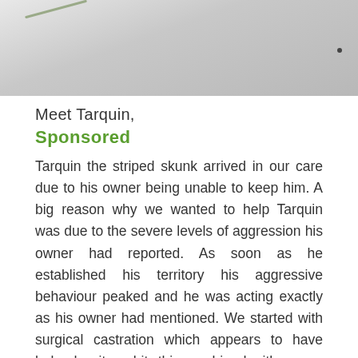[Figure (photo): Close-up photo of a light grey/white speckled surface, likely stone or concrete, with a small dark insect visible at the right and a plant stem at the left.]
Meet Tarquin,
Sponsored
Tarquin the striped skunk arrived in our care due to his owner being unable to keep him. A big reason why we wanted to help Tarquin was due to the severe levels of aggression his owner had reported. As soon as he established his territory his aggressive behaviour peaked and he was acting exactly as his owner had mentioned. We started with surgical castration which appears to have helped quite a bit, this combined with a new peaceful outdoor enclosure has started to help with building his confidence. Skunks are no easy undertaking at the best of times, never mind adding his temperamental behaviour into the mix. Taquin will stay with us as a resident and is an ambassador as to why "domesticating" skunks is something